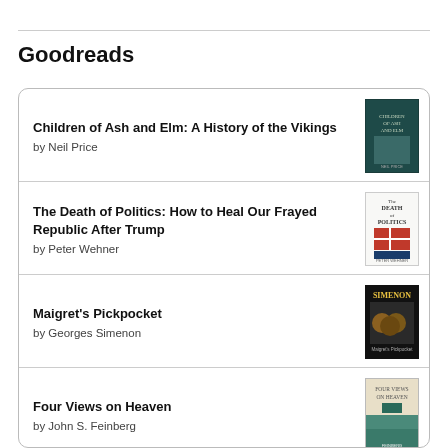Goodreads
Children of Ash and Elm: A History of the Vikings by Neil Price
The Death of Politics: How to Heal Our Frayed Republic After Trump by Peter Wehner
Maigret's Pickpocket by Georges Simenon
Four Views on Heaven by John S. Feinberg
The Religion of American Greatness by Paul D. Miller